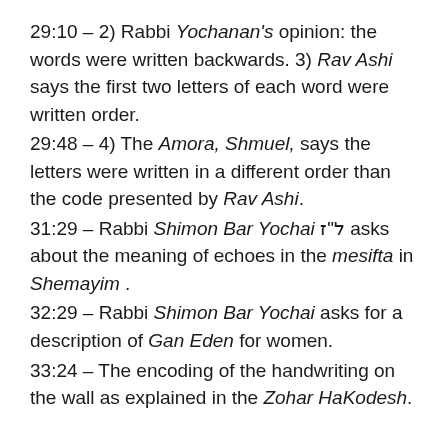29:10 – 2) Rabbi Yochanan's opinion: the words were written backwards. 3) Rav Ashi says the first two letters of each word were written order.
29:48 – 4) The Amora, Shmuel, says the letters were written in a different order than the code presented by Rav Ashi.
31:29 – Rabbi Shimon Bar Yochai ל"ז asks about the meaning of echoes in the mesifta in Shemayim .
32:29 – Rabbi Shimon Bar Yochai asks for a description of Gan Eden for women.
33:24 – The encoding of the handwriting on the wall as explained in the Zohar HaKodesh.